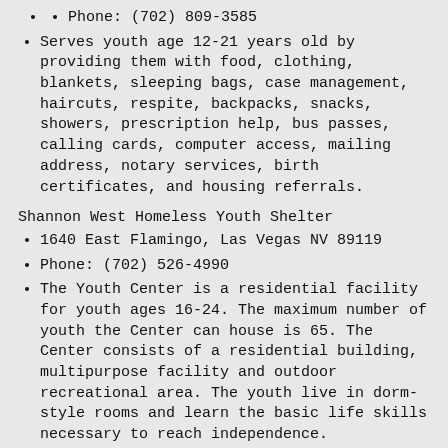Phone: (702) 809-3585
Serves youth age 12-21 years old by providing them with food, clothing, blankets, sleeping bags, case management, haircuts, respite, backpacks, snacks, showers, prescription help, bus passes, calling cards, computer access, mailing address, notary services, birth certificates, and housing referrals.
Shannon West Homeless Youth Shelter
1640 East Flamingo, Las Vegas NV 89119
Phone: (702) 526-4990
The Youth Center is a residential facility for youth ages 16-24. The maximum number of youth the Center can house is 65. The Center consists of a residential building, multipurpose facility and outdoor recreational area. The youth live in dorm-style rooms and learn the basic life skills necessary to reach independence.
Stepping Stones Emergency Shelter (WestCare)